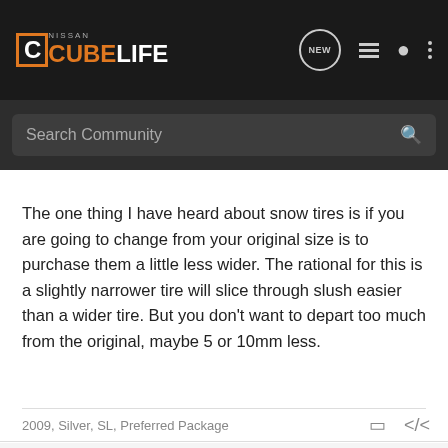[Figure (screenshot): Nissan CubeLife forum website navigation bar with logo, search bar, and icons]
The one thing I have heard about snow tires is if you are going to change from your original size is to purchase them a little less wider. The rational for this is a slightly narrower tire will slice through slush easier than a wider tire. But you don't want to depart too much from the original, maybe 5 or 10mm less.
2009, Silver, SL, Preferred Package
vfc · Registered
Joined Aug 29, 2009 · 84 Posts